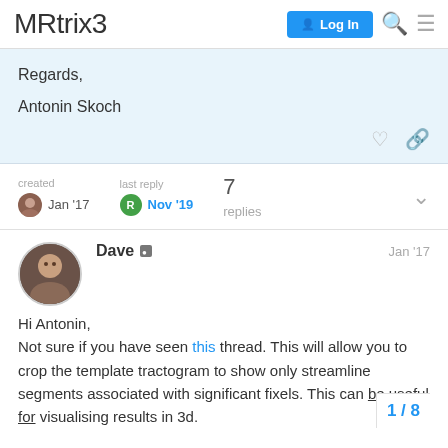MRtrix3 | Log In
Regards,

Antonin Skoch
created Jan '17  last reply Nov '19  7 replies
Dave  Jan '17
Hi Antonin,
Not sure if you have seen this thread. This will allow you to crop the template tractogram to show only streamline segments associated with significant fixels. This can be useful for visualising results in 3d.
1 / 8